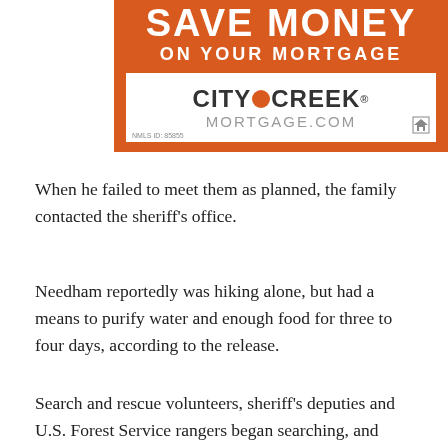[Figure (advertisement): City Creek Mortgage advertisement. Orange background with white text 'SAVE MONEY ON YOUR MORTGAGE'. White box contains 'CITY CREEK MORTGAGE.COM' logo with orange circle between CITY and CREEK. NMLS ID: 85855 at bottom left. Equal housing logo at bottom right.]
When he failed to meet them as planned, the family contacted the sheriff's office.
Needham reportedly was hiking alone, but had a means to purify water and enough food for three to four days, according to the release.
Search and rescue volunteers, sheriff's deputies and U.S. Forest Service rangers began searching, and dispatchers with the St. George Emergency Communication Center tried to